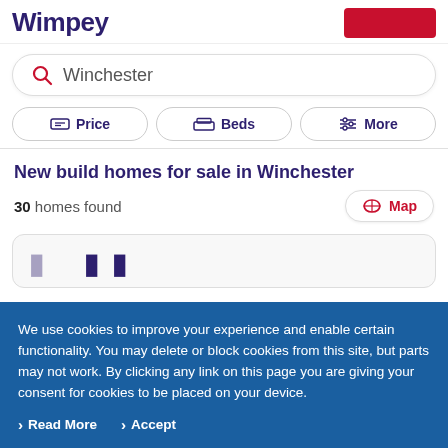Wimpey
Winchester
Price | Beds | More
New build homes for sale in Winchester
30 homes found
Map
We use cookies to improve your experience and enable certain functionality. You may delete or block cookies from this site, but parts may not work. By clicking any link on this page you are giving your consent for cookies to be placed on your device.
Read More   Accept